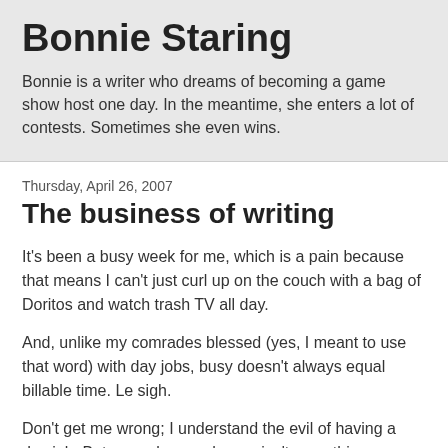Bonnie Staring
Bonnie is a writer who dreams of becoming a game show host one day. In the meantime, she enters a lot of contests. Sometimes she even wins.
Thursday, April 26, 2007
The business of writing
It's been a busy week for me, which is a pain because that means I can't just curl up on the couch with a bag of Doritos and watch trash TV all day.
And, unlike my comrades blessed (yes, I meant to use that word) with day jobs, busy doesn't always equal billable time. Le sigh.
Don't get me wrong; I understand the evil of having a day job. But a regular paycheque isn't something you should